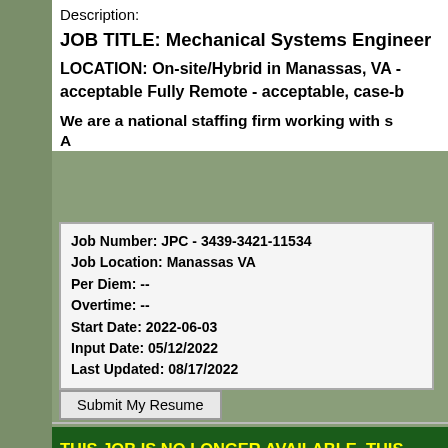Description:
JOB TITLE: Mechanical Systems Engineer
LOCATION: On-site/Hybrid in Manassas, VA - acceptable Fully Remote - acceptable, case-b
We are a national staffing firm working with s
| Job Number: JPC - 3439-3421-11534 |
| Job Location: Manassas VA |
| Per Diem: -- |
| Overtime: -- |
| Start Date: 2022-06-03 |
| Input Date: 05/12/2022 |
| Last Updated: 08/17/2022 |
Submit My Resume
THIS JOB IS NO LONGER AVAILABLE. THIS
Metrology Engine
Description:
Inconen is looking for a Metrology Engineer II for o